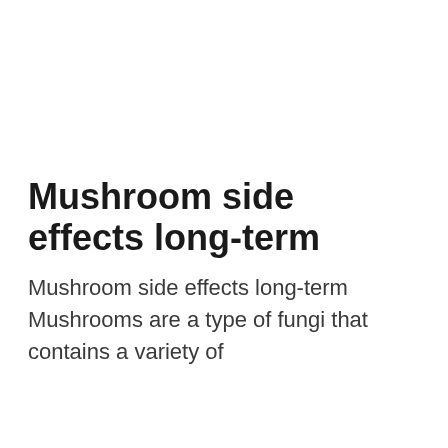Mushroom side effects long-term
Mushroom side effects long-term Mushrooms are a type of fungi that contains a variety of